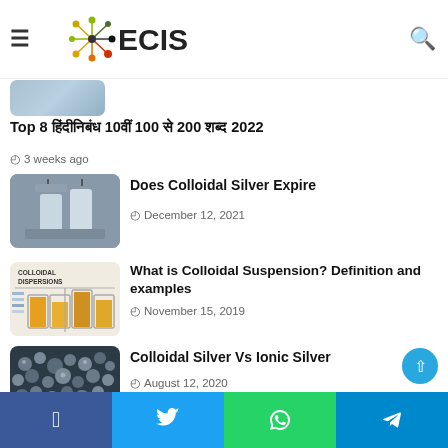≡ ECIS [logo] 🔍
[Figure (photo): Partial image of a person at top of article list]
Top 8 हिंदी निबंध 10वीं 100 से 200 शब्द 2022
3 weeks ago
[Figure (photo): Colloidal silver device with jars and wires]
Does Colloidal Silver Expire
December 12, 2021
[Figure (illustration): Colloidal Dispersions chart with orange liquid jars]
What is Colloidal Suspension? Definition and examples
November 15, 2019
[Figure (photo): Close-up of dark silver metallic spheres or pellets]
Colloidal Silver Vs Ionic Silver
August 12, 2020
[Figure (photo): Person's neck/throat area, partially visible]
Colloidal Silver for Strep Throat
Facebook  Twitter  WhatsApp  Telegram